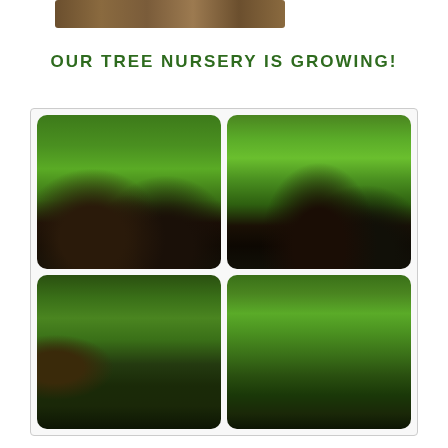[Figure (photo): Partial banner/header photo of trees or plants at the top of the page]
OUR TREE NURSERY IS GROWING!
[Figure (photo): 2x2 grid of four nursery plant photos: top-left shows rows of young trees in black pots on a dark ground cover; top-right shows closeup of large-leafed green plants in black pots; bottom-left shows young trees staked with wooden poles in pots on dark ground cover; bottom-right shows young leafy trees in wire cages or staked in a nursery setting]